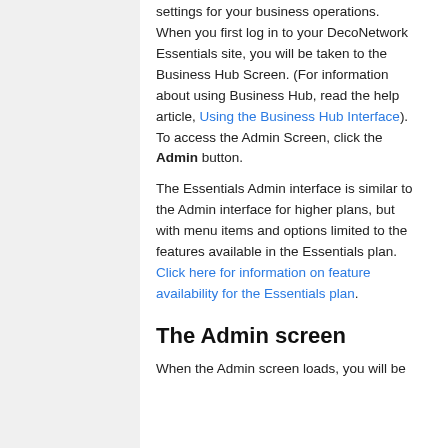settings for your business operations. When you first log in to your DecoNetwork Essentials site, you will be taken to the Business Hub Screen. (For information about using Business Hub, read the help article, Using the Business Hub Interface). To access the Admin Screen, click the Admin button.
The Essentials Admin interface is similar to the Admin interface for higher plans, but with menu items and options limited to the features available in the Essentials plan. Click here for information on feature availability for the Essentials plan.
The Admin screen
When the Admin screen loads, you will be